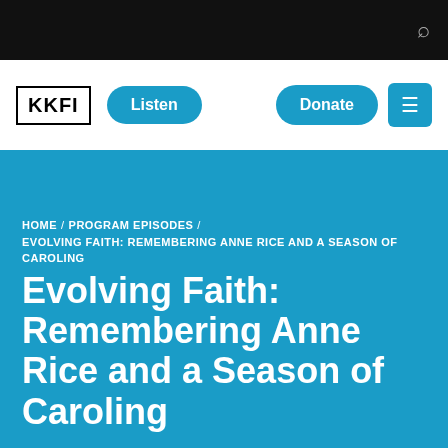KKFI | Listen | Donate | Menu
HOME / PROGRAM EPISODES / EVOLVING FAITH: REMEMBERING ANNE RICE AND A SEASON OF CAROLING
Evolving Faith: Remembering Anne Rice and a Season of Caroling